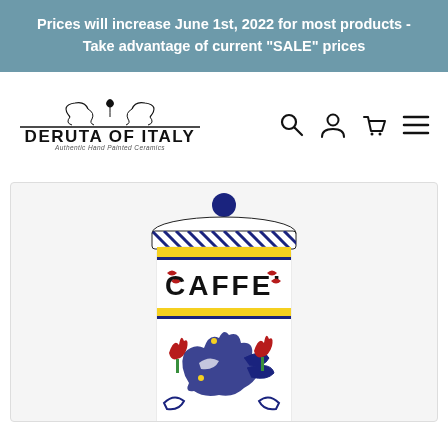Prices will increase June 1st, 2022 for most products - Take advantage of current "SALE" prices
[Figure (logo): Deruta of Italy logo with ornamental flourish and text 'Authentic Hand Painted Ceramics']
[Figure (photo): Italian ceramic canister with blue and yellow hand-painted Rooster (Orvieto) pattern with label 'CAFFE' on the body and a blue knob lid]